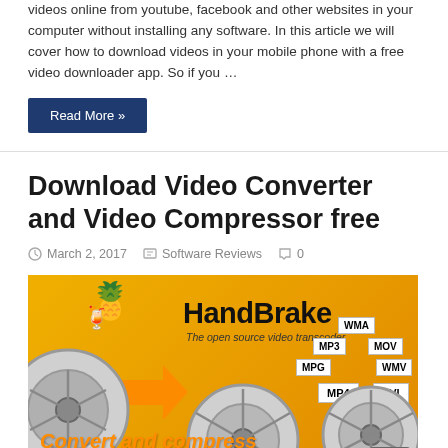videos online from youtube, facebook and other websites in your computer without installing any software. In this article we will cover how to download videos in your mobile phone with a free video downloader app. So if you …
Read More »
Download Video Converter and Video Compressor free
March 2, 2017   Software Reviews   0
[Figure (photo): HandBrake video converter promotional banner with film reels, format labels (MP4, AVI, WMV, MPG, MP3, MOV), pineapple mascot, and text 'Convert and compress your videos easily' on orange/yellow background]